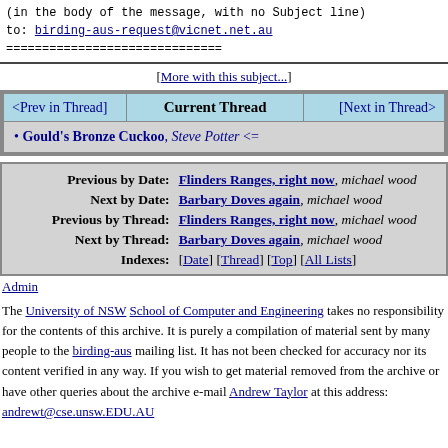(in the body of the message, with no Subject line)
to: birding-aus-request@vicnet.net.au
==============================
[More with this subject...]
| <Prev in Thread> | Current Thread | [Next in Thread> |
| --- | --- | --- |
| • Gould's Bronze Cuckoo, Steve Potter <= |
| Previous by Date: | Flinders Ranges, right now, michael wood |
| Next by Date: | Barbary Doves again, michael wood |
| Previous by Thread: | Flinders Ranges, right now, michael wood |
| Next by Thread: | Barbary Doves again, michael wood |
| Indexes: | [Date] [Thread] [Top] [All Lists] |
Admin
The University of NSW School of Computer and Engineering takes no responsibility for the contents of this archive. It is purely a compilation of material sent by many people to the birding-aus mailing list. It has not been checked for accuracy nor its content verified in any way. If you wish to get material removed from the archive or have other queries about the archive e-mail Andrew Taylor at this address: andrewt@cse.unsw.EDU.AU